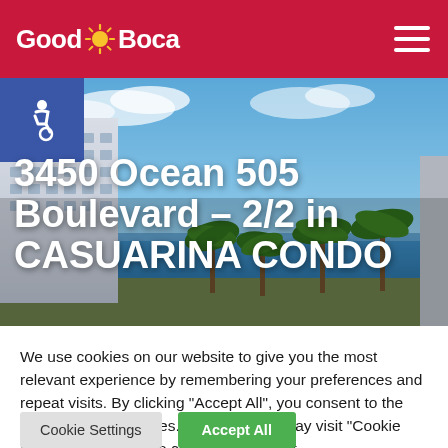Good Boca
[Figure (photo): Aerial/street view of oceanfront condo building (Casuarina Condo) with blue sky, ocean, and palm trees in Boca Raton, Florida. White multi-story building visible on left side.]
3450 Ocean Boulevard – 2/2 in CASUARINA CONDO
We use cookies on our website to give you the most relevant experience by remembering your preferences and repeat visits. By clicking "Accept All", you consent to the use of ALL the cookies. However, you may visit "Cookie Settings" to provide a controlled consent.
Cookie Settings
Accept All